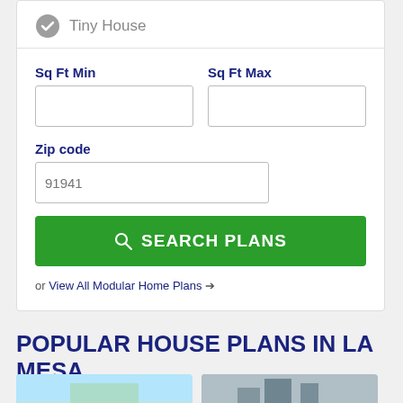Tiny House
Sq Ft Min
Sq Ft Max
Zip code
91941
SEARCH PLANS
or View All Modular Home Plans →
POPULAR HOUSE PLANS IN LA MESA, CALIFORNIA
[Figure (photo): House plan thumbnail image left]
[Figure (photo): House plan thumbnail image right]